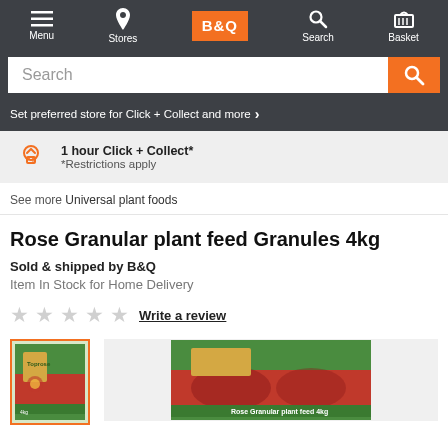Menu | Stores | B&Q | Search | Basket
Search
Set preferred store for Click + Collect and more
1 hour Click + Collect* *Restrictions apply
See more Universal plant foods
Rose Granular plant feed Granules 4kg
Sold & shipped by B&Q
Item In Stock for Home Delivery
Write a review
[Figure (photo): Thumbnail image of Toprose plant feed box (green/red packaging)]
[Figure (photo): Main product image of Rose Granular plant feed Granules 4kg box (green/red packaging)]